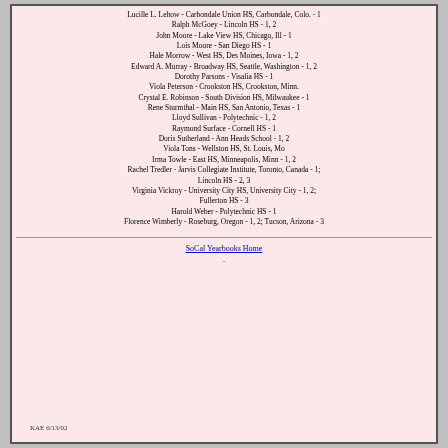Lucille L. Lehow - Carbondale Union HS, Carbondale, Colo. - 1
Ralph McGoey - Lincoln HS - 1, 2
John Moore - Lake View HS, Chicago, Ill - 1
Lois Moore - San Diego HS - 1
Hale Morrow - West HS, Des Moines, Iowa - 1, 2
Edward A. Murray - Broadway HS, Seattle, Washington - 1, 2
Dorothy Parsons - Visalia HS - 1
Viola Peterson - Crookston HS, Crookston, Minn.
Crystal E. Robinson - South Division HS, Milwaukee - 1
Rene Sturmthal - Main HS, San Antonio, Texas - 1
Lloyd Sullivan - Polytechnic - 1, 2
Raymond Surface - Cornell HS - 1
Doris Sutherland - Ann Heads School - 1, 2
Viola Tons - Wellston HS, St. Louis, Mo
Irma Towle - East HS, Minneapolis, Minn - 1, 2
Rachel Tredler - Jarvis Collegiate Institute, Toronto, Canada - 1; Lincoln HS - 2, 3
Virginia Vickroy - University City HS, University City - 1, 2; Fullerton HS - 3
Harold Weber - Polytechnic HS - 1
Florence Wimberly - Roseburg, Oregon - 1, 2; Tucson, Arizona - 3
SoCal Yearbooks Home
.
KAE 6/13/02